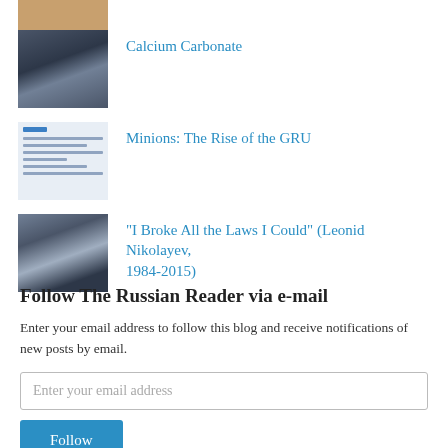[Figure (photo): Tan/brown colored thumbnail image (partial, cropped at top)]
Calcium Carbonate
[Figure (photo): Black and white photo of people in dark uniforms/gear]
Minions: The Rise of the GRU
[Figure (screenshot): Screenshot of a document or webpage with horizontal text lines]
"I Broke All the Laws I Could" (Leonid Nikolayev, 1984-2015)
[Figure (photo): Black and white photo of people, appears to show two people in foreground]
Follow The Russian Reader via e-mail
Enter your email address to follow this blog and receive notifications of new posts by email.
Enter your email address
Follow